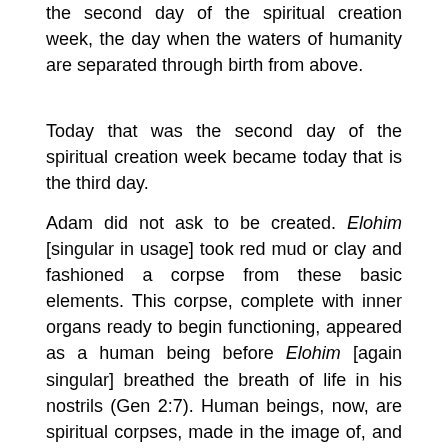the second day of the spiritual creation week, the day when the waters of humanity are separated through birth from above.
Today that was the second day of the spiritual creation week became today that is the third day.
Adam did not ask to be created. Elohim [singular in usage] took red mud or clay and fashioned a corpse from these basic elements. This corpse, complete with inner organs ready to begin functioning, appeared as a human being before Elohim [again singular] breathed the breath of life in his nostrils (Gen 2:7). Human beings, now, are spiritual corpses, made in the image of, and after the likeness of Elohim (Gen 1:27). These fully functioning, in the natural realm, spiritual corpses await receipt of the Breath of God (Pneuma 'Agion). When they, we, receive the Holy Spirit, we are born anew, or born a second time. We are born spiritually as Adam was born physically.